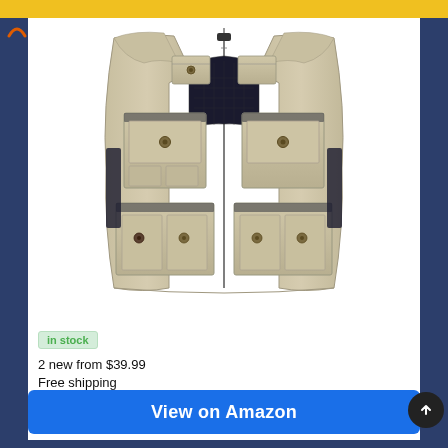[Figure (photo): A khaki/tan fishing vest with multiple front pockets, snap buttons, and zipper pockets, shown flat against a white background]
in stock
2 new from $39.99
Free shipping
View on Amazon